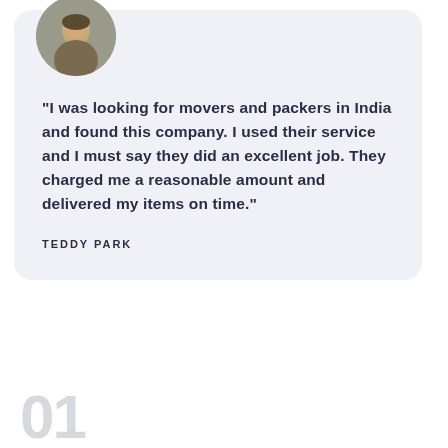[Figure (photo): Circular avatar photo of a person outdoors]
“I was looking for movers and packers in India and found this company. I used their service and I must say they did an excellent job. They charged me a reasonable amount and delivered my items on time.”
TEDDY PARK
01